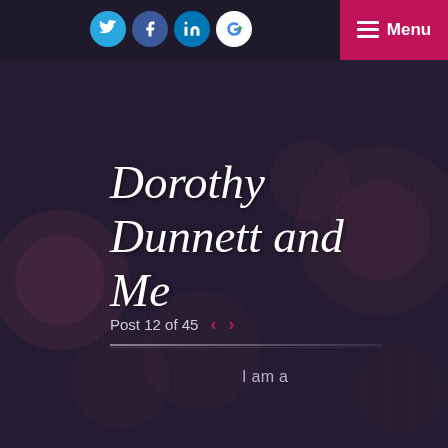[Figure (screenshot): Dark bokeh background with blurred circular light spots in purple/maroon tones]
Social media icons (Twitter, Facebook, LinkedIn, Google+) and Menu button
Dorothy Dunnett and Me
Post 12 of 45 < >
I am a